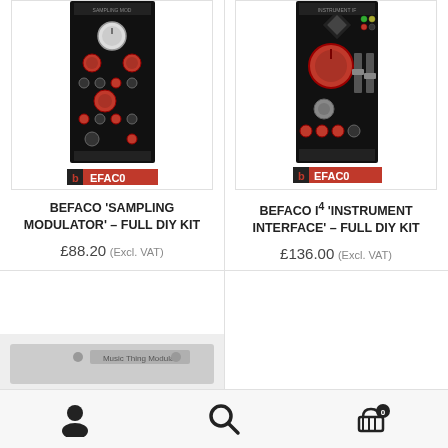[Figure (photo): Befaco Sampling Modulator eurorack module panel photo with red and black design and Befaco logo]
BEFACO 'SAMPLING MODULATOR' – FULL DIY KIT
£88.20 (Excl. VAT)
[Figure (photo): Befaco I4 Instrument Interface eurorack module panel photo with red and black design and Befaco logo]
BEFACO I⁴ 'INSTRUMENT INTERFACE' – FULL DIY KIT
£136.00 (Excl. VAT)
[Figure (photo): Music Thing Modular partial product image at bottom of page]
Navigation bar with user account icon, search icon, and cart icon showing 0 items